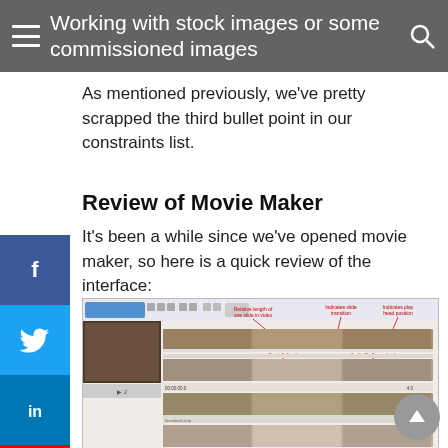Working with stock images or some commissioned images
As mentioned previously, we've pretty scrapped the third bullet point in our constraints list.
Review of Movie Maker
It's been a while since we've opened movie maker, so here is a quick review of the interface:
[Figure (screenshot): Screenshot of Windows Movie Maker interface showing the timeline with annotated labels: 'Relative length of one slide in video', 'Indicates slide transition', 'Indicates play head position', 'Caption (text)', 'Audio file (narration)'. The timeline shows multiple video/image tracks with thumbnails.]